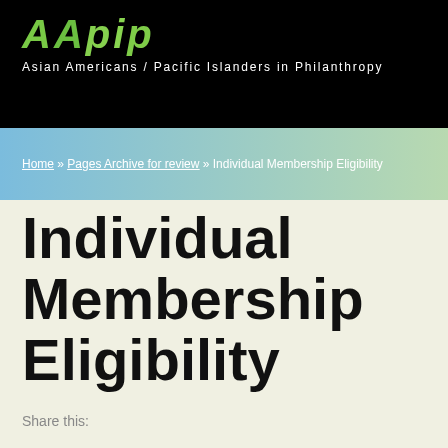AAPIP - Asian Americans / Pacific Islanders in Philanthropy
Home » Pages Archive for review » Individual Membership Eligibility
Individual Membership Eligibility
Share this: